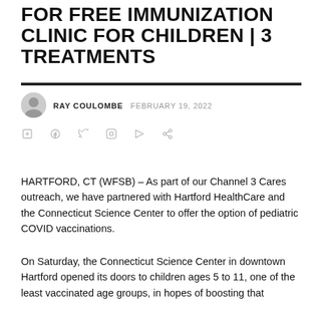FOR FREE IMMUNIZATION CLINIC FOR CHILDREN | 3 TREATMENTS
RAY COULOMBE  FEBRUARY 19, 2022
HARTFORD, CT (WFSB) – As part of our Channel 3 Cares outreach, we have partnered with Hartford HealthCare and the Connecticut Science Center to offer the option of pediatric COVID vaccinations.
On Saturday, the Connecticut Science Center in downtown Hartford opened its doors to children ages 5 to 11, one of the least vaccinated age groups, in hopes of boosting that